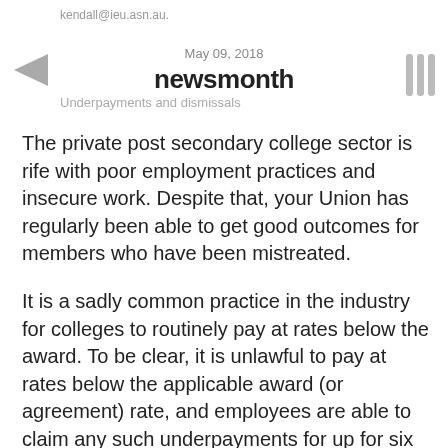kendall@ieu.asn.au.  May 09, 2018  newsmonth  Underpayments and dismissals
The private post secondary college sector is rife with poor employment practices and insecure work. Despite that, your Union has regularly been able to get good outcomes for members who have been mistreated.
It is a sadly common practice in the industry for colleges to routinely pay at rates below the award. To be clear, it is unlawful to pay at rates below the applicable award (or agreement) rate, and employees are able to claim any such underpayments for up for six years after the fact. In the last year alone, your Union has made claims totalling several thousand dollars on behalf of members, so it's worth checking your pay rates and your pay slips.